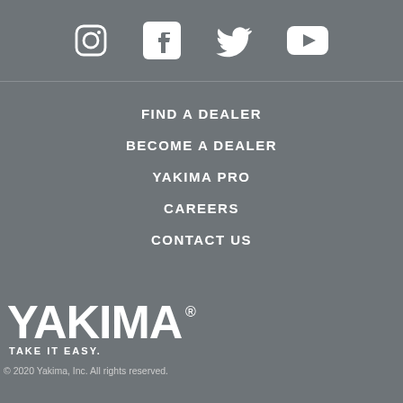[Figure (other): Social media icons: Instagram, Facebook, Twitter, YouTube]
FIND A DEALER
BECOME A DEALER
YAKIMA PRO
CAREERS
CONTACT US
[Figure (logo): Yakima logo with tagline TAKE IT EASY.]
© 2020 Yakima, Inc. All rights reserved.